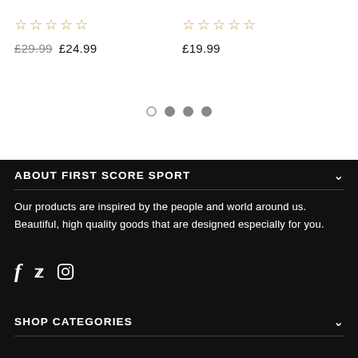[Figure (other): Star rating row (left product): 4 gold star outlines]
£29.99  £24.99
[Figure (other): Star rating row (right product): 4 gold star outlines]
£19.99
[Figure (other): Pagination dots: 1 empty circle, 3 filled gray circles]
ABOUT FIRST SCORE SPORT
Our products are inspired by the people and world around us. Beautiful, high quality goods that are designed especially for you.
[Figure (other): Social media icons: Facebook, Twitter, Instagram]
SHOP CATEGORIES